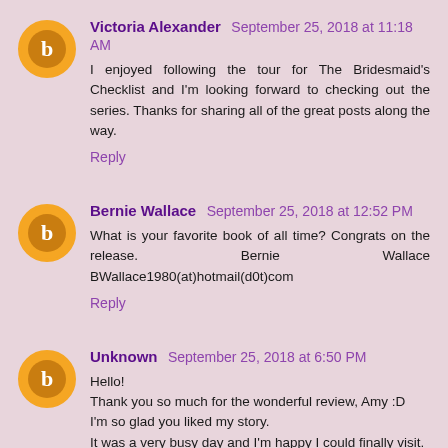Victoria Alexander  September 25, 2018 at 11:18 AM
I enjoyed following the tour for The Bridesmaid's Checklist and I'm looking forward to checking out the series. Thanks for sharing all of the great posts along the way.
Reply
Bernie Wallace  September 25, 2018 at 12:52 PM
What is your favorite book of all time? Congrats on the release. Bernie Wallace BWallace1980(at)hotmail(d0t)com
Reply
Unknown  September 25, 2018 at 6:50 PM
Hello!
Thank you so much for the wonderful review, Amy :D
I'm so glad you liked my story.
It was a very busy day and I'm happy I could finally visit.
If there's questions I'll be around to answer them.